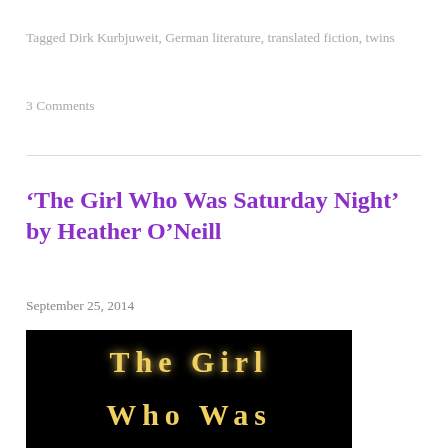Tagged Dirk Kurbjuweit, German literature, translated fiction, twins
3 Comments
'The Girl Who Was Saturday Night' by Heather O'Neill
September 25, 2014
[Figure (photo): Book cover of 'The Girl Who Was Saturday Night' showing dotted/marquee-style text on a black background reading 'The Girl Who Was' in yellow/gold dots]